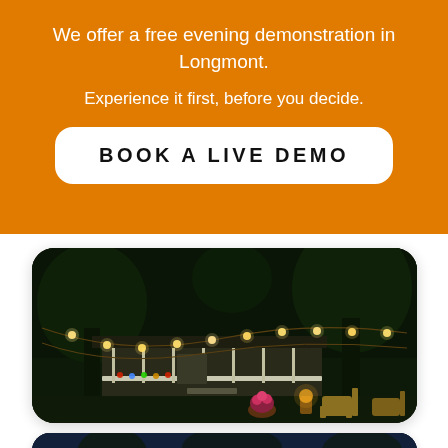We offer a free evening demonstration in Longmont.
Experience it first, before you decide.
BOOK A LIVE DEMO
[Figure (photo): Night outdoor scene showing a house patio with string lights draped between trees, outdoor furniture including Adirondack chairs, potted flowers, and a lantern in the foreground, taken at dusk.]
[Figure (photo): Partially visible dark blue-toned outdoor night photo, bottom of page, showing a dimly lit outdoor scene.]